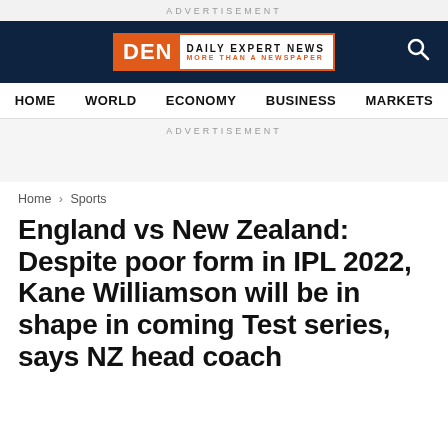ADVERTISEMENT
[Figure (logo): DEN Daily Expert News logo with orange background on dark navy header bar with search icon]
HOME   WORLD   ECONOMY   BUSINESS   MARKETS
ADVERTISEMENT
Home › Sports
England vs New Zealand: Despite poor form in IPL 2022, Kane Williamson will be in shape in coming Test series, says NZ head coach